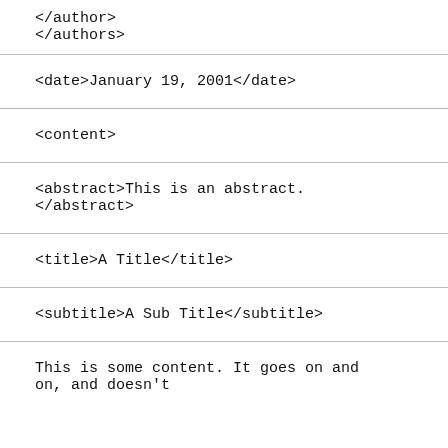</author>
</authors>
<date>January 19, 2001</date>
<content>
<abstract>This is an abstract.
</abstract>
<title>A Title</title>
<subtitle>A Sub Title</subtitle>
This is some content. It goes on and
on, and doesn't